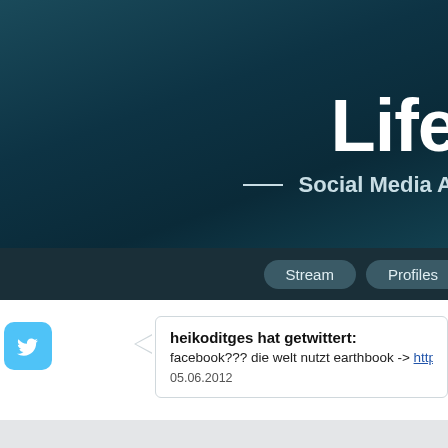[Figure (screenshot): Dark teal header banner with large white bold title 'Life' (partially cropped) and subtitle '— Social Media A...' (partially cropped)]
Life
— Social Media A
[Figure (screenshot): Dark navigation bar with two pill-shaped buttons: 'Stream' and 'Profiles']
heikoditges hat getwittert:
facebook??? die welt nutzt earthbook -> http://t.co/o3DeYeCL lohnt sich
05.06.2012